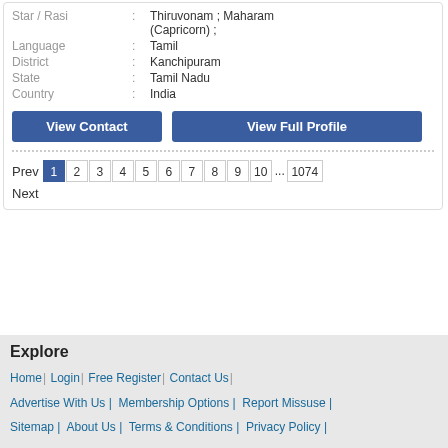Star / Rasi : Thiruvonam ; Maharam (Capricorn) ;
Language : Tamil
District : Kanchipuram
State : Tamil Nadu
Country : India
View Contact | View Full Profile
Prev 1 2 3 4 5 6 7 8 9 10 ... 1074 Next
Explore
Home | Login | Free Register | Contact Us |
Advertise With Us | Membership Options | Report Missuse |
Sitemap | About Us | Terms & Conditions | Privacy Policy |